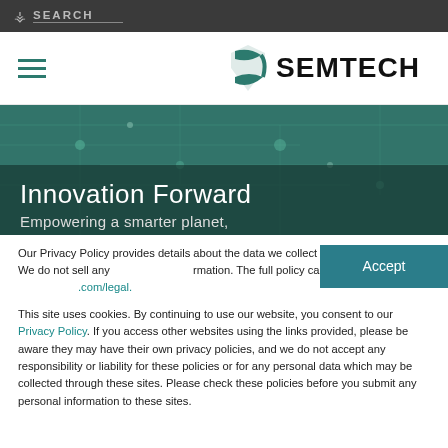SEARCH
[Figure (logo): Semtech logo with stylized S graphic and SEMTECH wordmark]
[Figure (photo): Hero banner with green-tinted circuit board background. Text overlay: 'Innovation Forward' and 'Empowering a smarter planet,']
Our Privacy Policy provides details about the data we collect and how we use it. We do not sell any information. The full policy can be read at https://www.semtech.com/legal.
This site uses cookies. By continuing to use our website, you consent to our Privacy Policy. If you access other websites using the links provided, please be aware they may have their own privacy policies, and we do not accept any responsibility or liability for these policies or for any personal data which may be collected through these sites. Please check these policies before you submit any personal information to these sites.